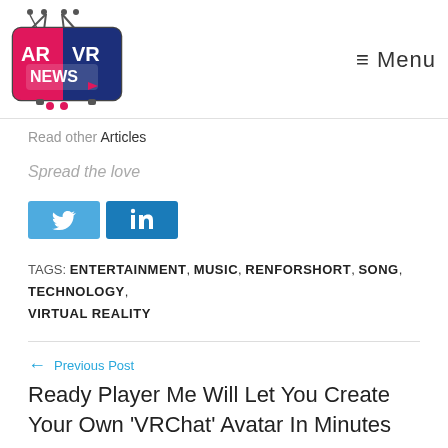AR VR NEWS logo | ≡ Menu
Read other Articles
Spread the love
[Figure (other): Twitter and LinkedIn social share buttons]
TAGS: ENTERTAINMENT, MUSIC, RENFORSHORT, SONG, TECHNOLOGY, VIRTUAL REALITY
← Previous Post
Ready Player Me Will Let You Create Your Own 'VRChat' Avatar In Minutes